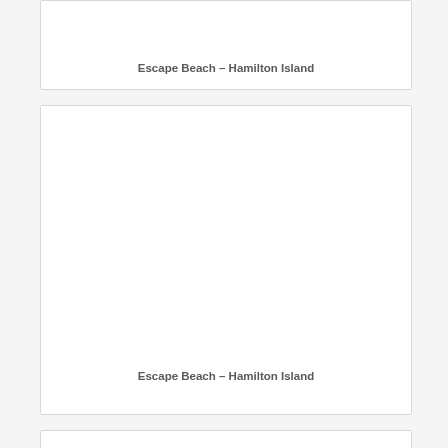[Figure (photo): Card with image area (mostly blank/white) and caption 'Escape Beach – Hamilton Island' at bottom. Top card, partially visible.]
Escape Beach – Hamilton Island
[Figure (photo): Card with large image area (blank/white) and caption 'Escape Beach – Hamilton Island' at bottom. Main visible card.]
Escape Beach – Hamilton Island
[Figure (photo): Card partially visible at bottom of page.]